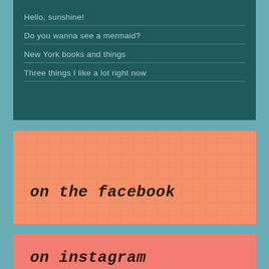Hello, sunshine!
Do you wanna see a mermaid?
New York books and things
Three things I like a lot right now
on the facebook
on instagram